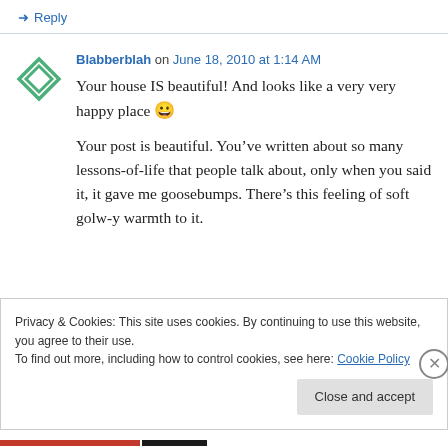↳ Reply
Blabberblah on June 18, 2010 at 1:14 AM
Your house IS beautiful! And looks like a very very happy place 😀
Your post is beautiful. You've written about so many lessons-of-life that people talk about, only when you said it, it gave me goosebumps. There's this feeling of soft golw-y warmth to it.
Privacy & Cookies: This site uses cookies. By continuing to use this website, you agree to their use.
To find out more, including how to control cookies, see here: Cookie Policy